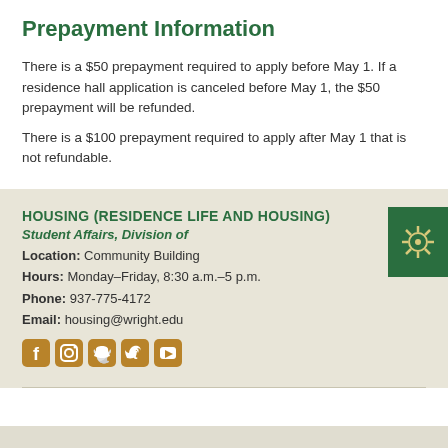Prepayment Information
There is a $50 prepayment required to apply before May 1. If a residence hall application is canceled before May 1, the $50 prepayment will be refunded.
There is a $100 prepayment required to apply after May 1 that is not refundable.
HOUSING (RESIDENCE LIFE AND HOUSING)
Student Affairs, Division of
Location: Community Building
Hours: Monday–Friday, 8:30 a.m.–5 p.m.
Phone: 937-775-4172
Email: housing@wright.edu
[Figure (illustration): Social media icons: Facebook, Instagram, Snapchat, Twitter, YouTube in gold/brown color]
[Figure (logo): Green square badge with white COVID/virus icon]